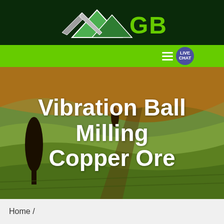[Figure (logo): GBM logo with mountain/triangle graphic and green GBM text on dark green header]
[Figure (screenshot): Green navigation bar with hamburger menu and Live Chat bubble on right side]
[Figure (photo): Aerial photo of rolling green and ochre agricultural fields with a dark tree on the left]
Vibration Ball Milling Copper Ore
Home /